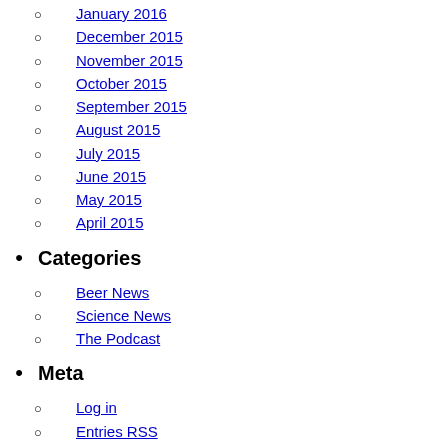January 2016
December 2015
November 2015
October 2015
September 2015
August 2015
July 2015
June 2015
May 2015
April 2015
Categories
Beer News
Science News
The Podcast
Meta
Log in
Entries RSS
Comments RSS
WordPress.org